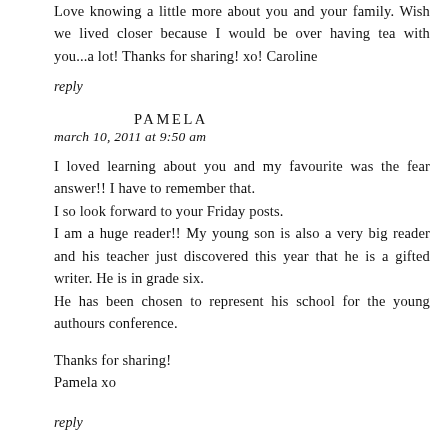Love knowing a little more about you and your family. Wish we lived closer because I would be over having tea with you...a lot! Thanks for sharing! xo! Caroline
reply
PAMELA
march 10, 2011 at 9:50 am
I loved learning about you and my favourite was the fear answer!! I have to remember that.
I so look forward to your Friday posts.
I am a huge reader!! My young son is also a very big reader and his teacher just discovered this year that he is a gifted writer. He is in grade six.
He has been chosen to represent his school for the young authours conference.

Thanks for sharing!
Pamela xo
reply